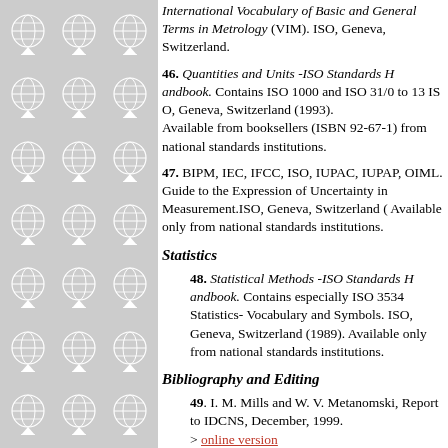[Figure (illustration): Left panel with repeating globe/world icon pattern on grey background arranged in a 3x7 grid]
International Vocabulary of Basic and General Terms in Metrology (VIM). ISO, Geneva, Switzerland.
46. Quantities and Units -ISO Standards Handbook. Contains ISO 1000 and ISO 31/0 to 13 ISO, Geneva, Switzerland (1993). Available from booksellers (ISBN 92-67-1) from national standards institutions.
47. BIPM, IEC, IFCC, ISO, IUPAC, IUPAP, OIML. Guide to the Expression of Uncertainty in Measurement.ISO, Geneva, Switzerland ( Available only from national standards ins.
Statistics
48. Statistical Methods -ISO Standards Handbook. Contains especially ISO 3534 Statistics- Vocabulary and Symbols. ISO, Geneva, Switzerland (1989). Available only from national standards institutions.
Bibliography and Editing
49. I. M. Mills and W. V. Metanomski, Re IDCNS, December, 1999.
> online version